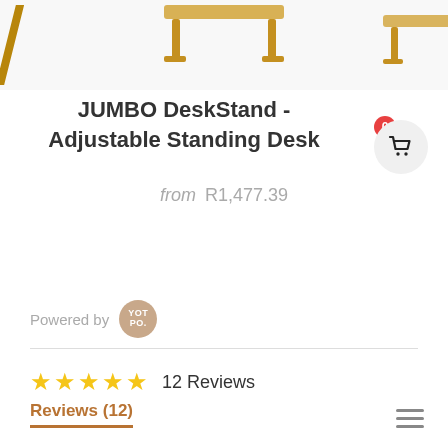[Figure (photo): Product images of standing desk furniture at top of page, partially cropped. Center shows a wooden standing desk, left shows a partial desk leg, right shows another partial desk view.]
JUMBO DeskStand - Adjustable Standing Desk
from R1,477.39
[Figure (logo): Yotpo logo badge - circular tan/brown badge with YOT PO. text in white]
Powered by
★★★★★ 12 Reviews
Reviews (12)